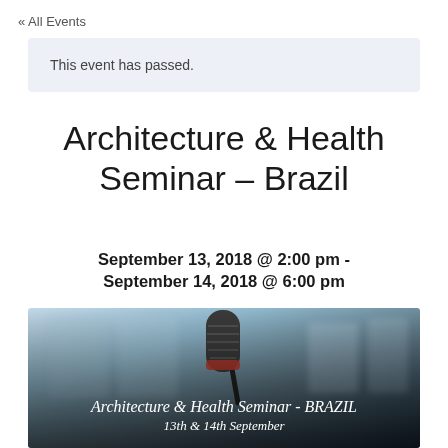« All Events
This event has passed.
Architecture & Health Seminar – Brazil
September 13, 2018 @ 2:00 pm - September 14, 2018 @ 6:00 pm
[Figure (photo): A microphone in the foreground with a blurred conference room background. Overlay text reads 'Architecture & Health Seminar - BRAZIL' and '13th & 14th September'.]